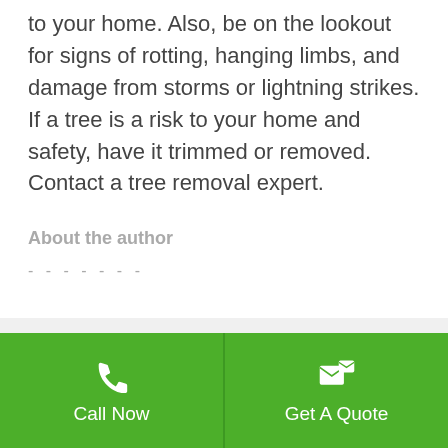to your home. Also, be on the lookout for signs of rotting, hanging limbs, and damage from storms or lightning strikes. If a tree is a risk to your home and safety, have it trimmed or removed. Contact a tree removal expert.
About the author
- - - - - - -
Justin Shaw
It's doubtful you'll find anyone with more of a passion for
Call Now
Get A Quote